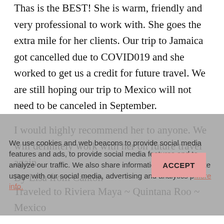Thas is the BEST! She is warm, friendly and very professional to work with. She goes the extra mile for her clients. Our trip to Jamaica got cancelled due to COVID019 and she worked to get us a credit for future travel. We are still hoping our trip to Mexico will not need to be canceled in September.
I would highly recommend her to anyone. We will definitely work with her on future travel again.
By Lisa from Canton
Traveled to Riviera Maya ~ Quintana Roo ~ Mexico
We use cookies and web beacons to provide social media features and ads, to provide social media features and to analyze our traffic. We also share information about your site usage with our social media, advertising and analytics partners. More info.
I would recommend this agent to my family and friends
Was this review helpful to you? YES | NO